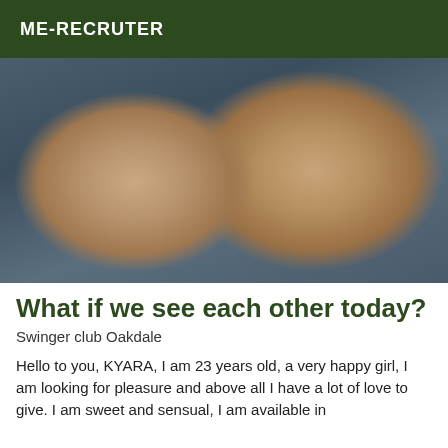ME-RECRUTER
[Figure (photo): Close-up photo of two bare feet with soles facing the camera, resting on dark blue/grey fabric or clothing]
What if we see each other today?
Swinger club Oakdale
Hello to you, KYARA, I am 23 years old, a very happy girl, I am looking for pleasure and above all I have a lot of love to give. I am sweet and sensual, I am available in